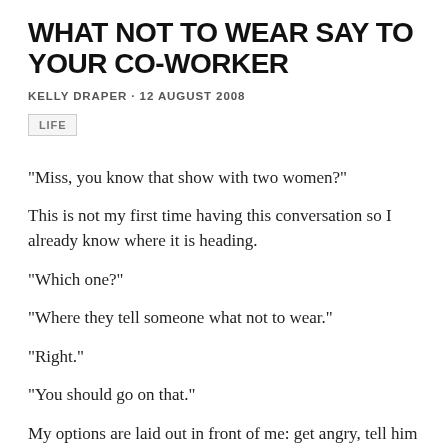WHAT NOT TO WEAR SAY TO YOUR CO-WORKER
KELLY DRAPER · 12 AUGUST 2008
LIFE
“Miss, you know that show with two women?”
This is not my first time having this conversation so I already know where it is heading.
“Which one?”
“Where they tell someone what not to wear.”
“Right.”
“You should go on that.”
My options are laid out in front of me: get angry, tell him off, send him out, get upset.
This is me though, I get asked if I am pregnant at least once a